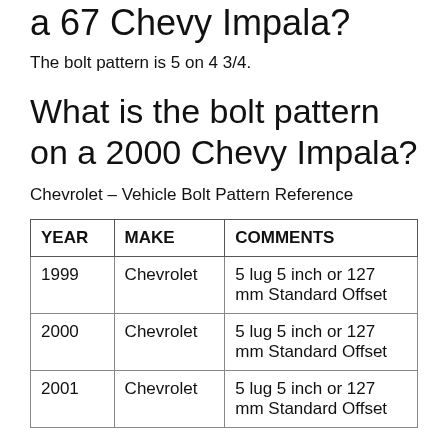a 67 Chevy Impala?
The bolt pattern is 5 on 4 3/4.
What is the bolt pattern on a 2000 Chevy Impala?
Chevrolet – Vehicle Bolt Pattern Reference
| YEAR | MAKE | COMMENTS |
| --- | --- | --- |
| 1999 | Chevrolet | 5 lug 5 inch or 127 mm Standard Offset |
| 2000 | Chevrolet | 5 lug 5 inch or 127 mm Standard Offset |
| 2001 | Chevrolet | 5 lug 5 inch or 127 mm Standard Offset |